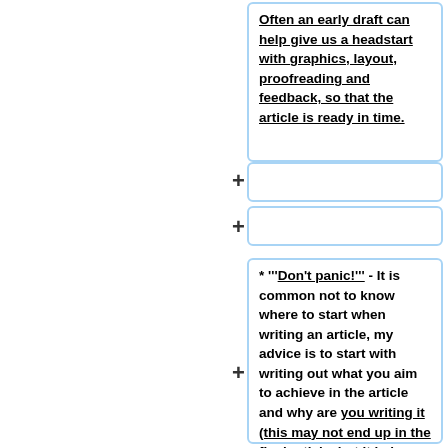Often an early draft can help give us a headstart with graphics, layout, proofreading and feedback, so that the article is ready in time.
+
+
* '''Don't panic!''' - It is common not to know where to start when writing an article, my advice is to start with writing out what you aim to achieve in the article and why are you writing it (this may not end up in the final article, but it helps focus what you are doing).